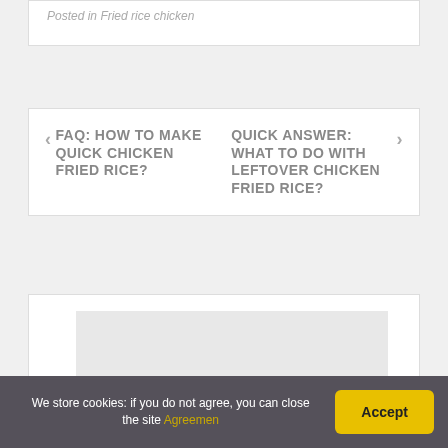Posted in Fried rice chicken
< FAQ: HOW TO MAKE QUICK CHICKEN FRIED RICE?
QUICK ANSWER: WHAT TO DO WITH LEFTOVER CHICKEN FRIED RICE? >
[Figure (other): Empty white box with gray inner rectangle at bottom]
We store cookies: if you do not agree, you can close the site Agreemen | Accept